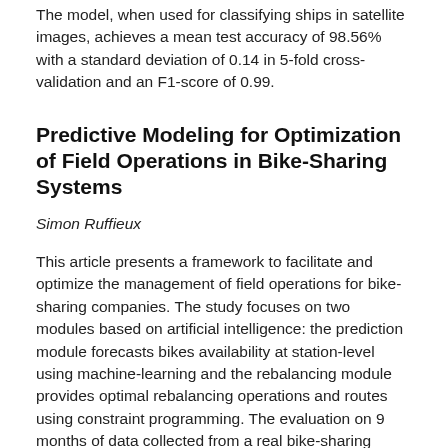The model, when used for classifying ships in satellite images, achieves a mean test accuracy of 98.56% with a standard deviation of 0.14 in 5-fold cross-validation and an F1-score of 0.99.
Predictive Modeling for Optimization of Field Operations in Bike-Sharing Systems
Simon Ruffieux
This article presents a framework to facilitate and optimize the management of field operations for bike-sharing companies. The study focuses on two modules based on artificial intelligence: the prediction module forecasts bikes availability at station-level using machine-learning and the rebalancing module provides optimal rebalancing operations and routes using constraint programming. The evaluation on 9 months of data collected from a real bike-sharing network notably highlighted the superior forecasting accuracy of the Multilayer